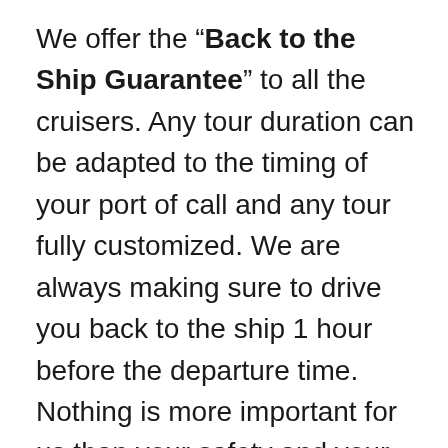We offer the “Back to the Ship Guarantee” to all the cruisers. Any tour duration can be adapted to the timing of your port of call and any tour fully customized. We are always making sure to drive you back to the ship 1 hour before the departure time. Nothing is more important for us than your safety and your enjoyment and nothing can happen that will make you miss your ship.
Many of our private tours are available for cruisers. On the tour description page you